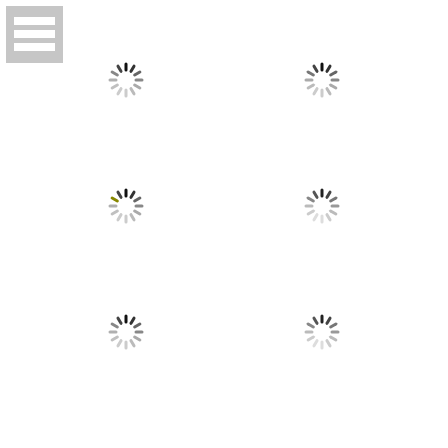[Figure (other): Menu/hamburger icon — a grey rectangle with three white horizontal bars]
[Figure (other): Loading spinner icon (top-left position, row 1)]
[Figure (other): Loading spinner icon (top-right position, row 1)]
[Figure (other): Loading spinner icon (middle-left position, row 2)]
[Figure (other): Loading spinner icon (middle-right position, row 2)]
[Figure (other): Loading spinner icon (bottom-left position, row 3)]
[Figure (other): Loading spinner icon (bottom-right position, row 3)]